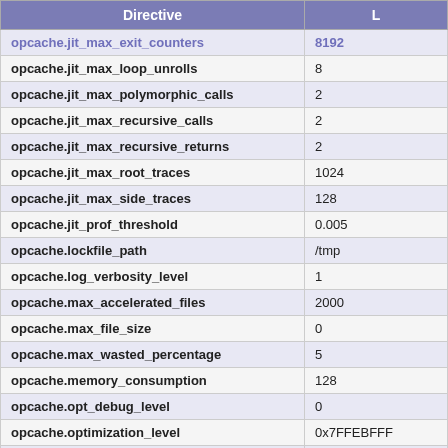| Directive | L |
| --- | --- |
| opcache.jit_max_exit_counters | 8192 |
| opcache.jit_max_loop_unrolls | 8 |
| opcache.jit_max_polymorphic_calls | 2 |
| opcache.jit_max_recursive_calls | 2 |
| opcache.jit_max_recursive_returns | 2 |
| opcache.jit_max_root_traces | 1024 |
| opcache.jit_max_side_traces | 128 |
| opcache.jit_prof_threshold | 0.005 |
| opcache.lockfile_path | /tmp |
| opcache.log_verbosity_level | 1 |
| opcache.max_accelerated_files | 2000 |
| opcache.max_file_size | 0 |
| opcache.max_wasted_percentage | 5 |
| opcache.memory_consumption | 128 |
| opcache.opt_debug_level | 0 |
| opcache.optimization_level | 0x7FFEBFFF |
| opcache.preferred_memory_model | no value |
| opcache.preload | no value |
| opcache.preload_user | bas |